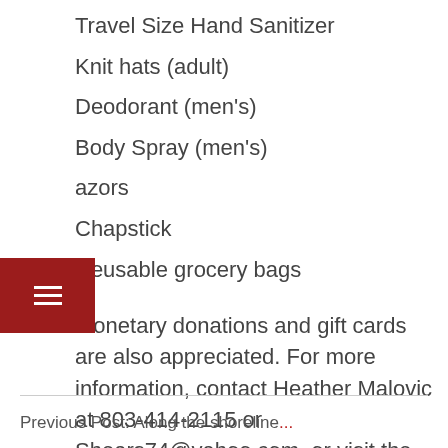Travel Size Hand Sanitizer
Knit hats (adult)
Deodorant (men's)
Body Spray (men's)
Razors
Chapstick
Reusable grocery bags
Monetary donations and gift cards are also appreciated. For more information, contact Heather Malovic at 803-414-2115 or Shears74@yahoo.com, or visit the “Operation Spread the Joy” on Facebook.
Previous Post: Along the shoreline...